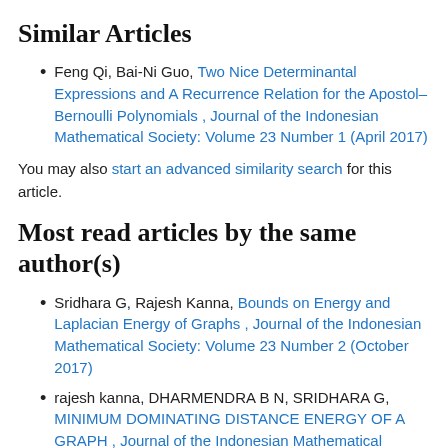Similar Articles
Feng Qi, Bai-Ni Guo, Two Nice Determinantal Expressions and A Recurrence Relation for the Apostol–Bernoulli Polynomials , Journal of the Indonesian Mathematical Society: Volume 23 Number 1 (April 2017)
You may also start an advanced similarity search for this article.
Most read articles by the same author(s)
Sridhara G, Rajesh Kanna, Bounds on Energy and Laplacian Energy of Graphs , Journal of the Indonesian Mathematical Society: Volume 23 Number 2 (October 2017)
rajesh kanna, DHARMENDRA B N, SRIDHARA G, MINIMUM DOMINATING DISTANCE ENERGY OF A GRAPH , Journal of the Indonesian Mathematical Society: Volume 20 Number 1 (April 2014)
G. Sridhara, Rajesh Kanna, H.L. Parashivamurthy, Naw…